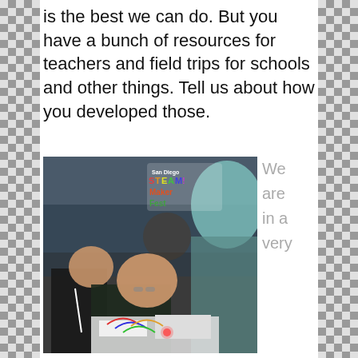is the best we can do. But you have a bunch of resources for teachers and field trips for schools and other things. Tell us about how you developed those.
[Figure (photo): Photo of students at San Diego STEAM Maker Fest working on a robotics/electronics project, bending over a table with wiring and components. A logo overlay reads 'San Diego STEAM Maker Fest'.]
We are in a very